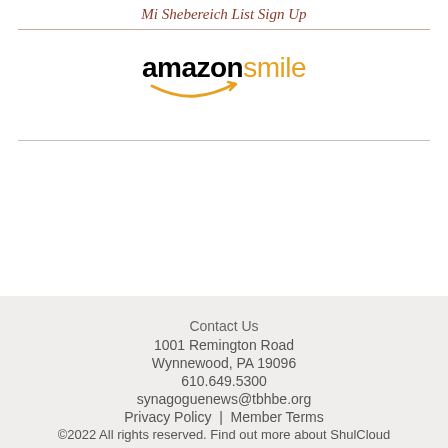Mi Shebereich List Sign Up
[Figure (logo): AmazonSmile logo with orange arrow underneath]
Contact Us
1001 Remington Road
Wynnewood, PA 19096
610.649.5300
synagoguenews@tbhbe.org
Privacy Policy | Member Terms
©2022 All rights reserved. Find out more about ShulCloud